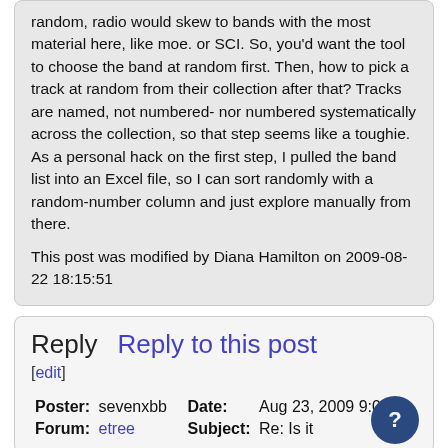random, radio would skew to bands with the most material here, like moe. or SCI. So, you'd want the tool to choose the band at random first. Then, how to pick a track at random from their collection after that? Tracks are named, not numbered- nor numbered systematically across the collection, so that step seems like a toughie. As a personal hack on the first step, I pulled the band list into an Excel file, so I can sort randomly with a random-number column and just explore manually from there.
This post was modified by Diana Hamilton on 2009-08-22 18:15:51
Reply   Reply to this post
[edit]
| Poster: | sevenxbb | Date: | Aug 23, 2009 9:02pm |
| Forum: | etree | Subject: | Re: Is it |